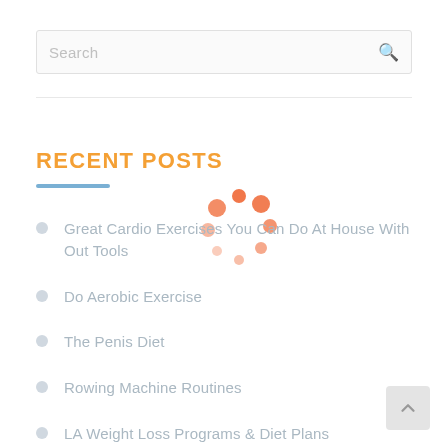Search
RECENT POSTS
[Figure (other): Loading spinner with orange dots arranged in a circle]
Great Cardio Exercises You Can Do At House With Out Tools
Do Aerobic Exercise
The Penis Diet
Rowing Machine Routines
LA Weight Loss Programs & Diet Plans